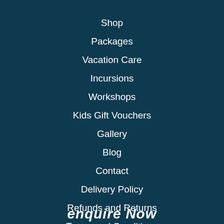Shop
Packages
Vacation Care
Incursions
Workshops
Kids Gift Vouchers
Gallery
Blog
Contact
Delivery Policy
Refunds and Returns
Terms and Conditions
enquire Now